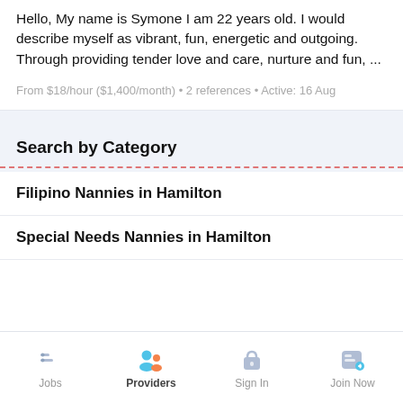Hello, My name is Symone I am 22 years old. I would describe myself as vibrant, fun, energetic and outgoing. Through providing tender love and care, nurture and fun, ...
From $18/hour ($1,400/month) • 2 references • Active: 16 Aug
Search by Category
Filipino Nannies in Hamilton
Special Needs Nannies in Hamilton
Jobs  Providers  Sign In  Join Now